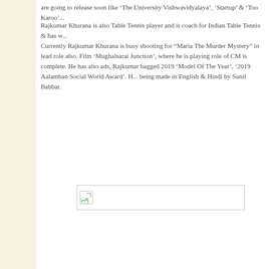are going to release soon like 'The University Vishwavidyalaya', 'Startup' & 'Too Karoo'...
Rajkumar Khurana is also Table Tennis player and is coach for Indian Table Tennis & has w...
Currently Rajkumar Khurana is busy shooting for “Maria The Murder Mystery” in lead role also. Film ‘Mughalsarai Junction’, where he is playing role of CM is complete. He has also ads, Rajkumar bagged 2019 ‘Model Of The Year’, ‘2019 Aalamban Social World Award’. H... being made in English & Hindi by Sunil Babbar.
[Figure (photo): Broken/missing image placeholder with small icon in top-left corner]